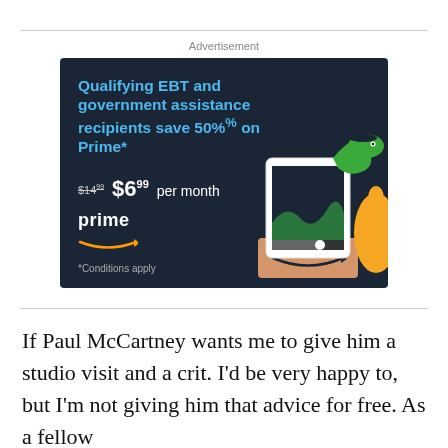Advertisement
[Figure (infographic): Amazon Prime advertisement on dark navy background. Headline in blue: 'Qualifying EBT and government assistance recipients save 50% on Prime*'. Price: $14.99 struck through, $6.99 per month. Amazon Prime logo with smile arrow. Illustration of a cartoon alligator/dinosaur emerging from a tablet on an Amazon box. Text: '*Conditions apply']
If Paul McCartney wants me to give him a studio visit and a crit. I'd be very happy to, but I'm not giving him that advice for free. As a fellow